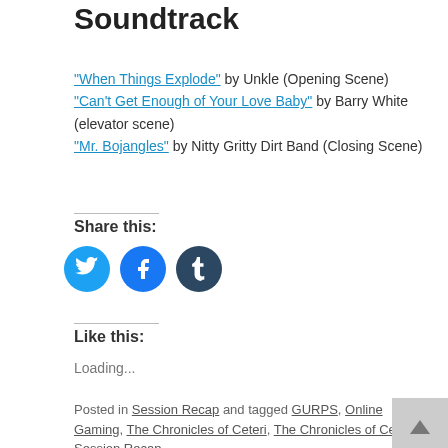Soundtrack
"When Things Explode" by Unkle (Opening Scene)
"Can't Get Enough of Your Love Baby" by Barry White (elevator scene)
"Mr. Bojangles" by Nitty Gritty Dirt Band (Closing Scene)
Share this:
[Figure (infographic): Three social sharing icon circles: Twitter (light blue), Facebook (blue), Tumblr (dark blue-grey)]
Like this:
Loading...
Posted in Session Recap and tagged GURPS, Online Gaming, The Chronicles of Ceteri, The Chronicles of Ceteri Session Recap.